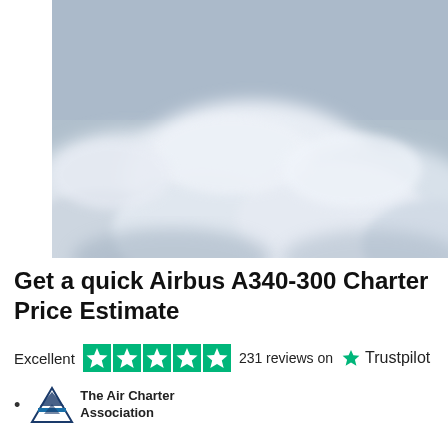[Figure (photo): Aerial view of clouds seen from above, with blue-grey sky and white fluffy clouds filling the frame. Blurred/soft focus image.]
Get a quick Airbus A340-300 Charter Price Estimate
Excellent ★★★★★ 231 reviews on ★ Trustpilot
The Air Charter Association